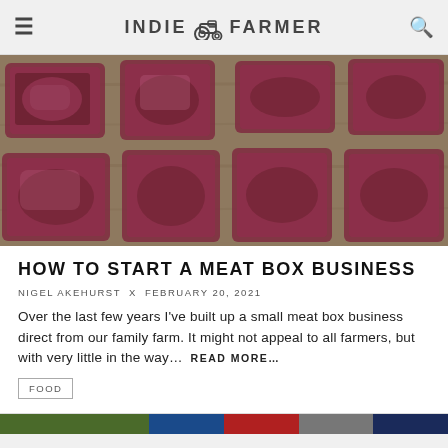INDIE FARMER
[Figure (photo): Overhead view of vacuum-sealed raw meat cuts arranged on a wooden surface]
HOW TO START A MEAT BOX BUSINESS
NIGEL AKEHURST × FEBRUARY 20, 2021
Over the last few years I've built up a small meat box business direct from our family farm. It might not appeal to all farmers, but with very little in the way... READ MORE...
FOOD